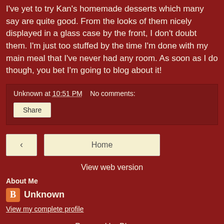I've yet to try Kan's homemade desserts which many say are quite good. From the looks of them nicely displayed in a glass case by the front, I don't doubt them. I'm just too stuffed by the time I'm done with my main meal that I've never had any room. As soon as I do though, you bet I'm going to blog about it!
Unknown at 10:51 PM   No comments:
Share
< (previous)
Home
View web version
About Me
Unknown
View my complete profile
Powered by Blogger.